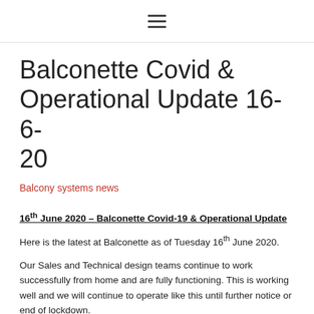≡
Balconette Covid & Operational Update 16-6-20
Balcony systems news
16th June 2020 – Balconette Covid-19 & Operational Update
Here is the latest at Balconette as of Tuesday 16th June 2020.
Our Sales and Technical design teams continue to work successfully from home and are fully functioning. This is working well and we will continue to operate like this until further notice or end of lockdown.